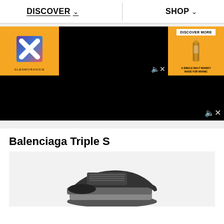DISCOVER   SHOP
[Figure (photo): Glenmorangie X advertisement banner with orange background, X logo on left, black video player in center with mute icon, whisky bottle and discover more button on right with tagline 'A SINGLE MALT WHISKY MADE FOR MIXING']
[Figure (photo): Black video player with mute icon in bottom right corner]
Balenciaga Triple S
[Figure (photo): Balenciaga Triple S sneaker product photo on light grey background, partial view showing bottom portion of dark/black chunky sneaker]